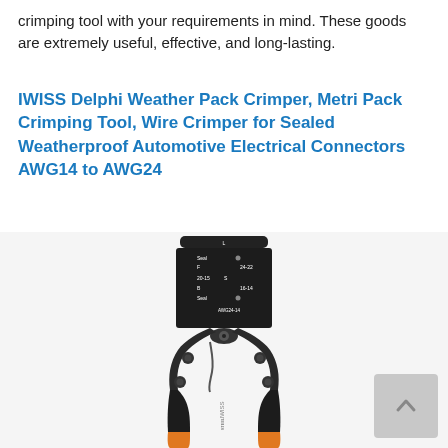crimping tool with your requirements in mind. These goods are extremely useful, effective, and long-lasting.
IWISS Delphi Weather Pack Crimper, Metri Pack Crimping Tool, Wire Crimper for Sealed Weatherproof Automotive Electrical Connectors AWG14 to AWG24
[Figure (photo): Photo of the IWISS crimping tool with black metal body, labeled jaw sections for AWG sizes (Seal, 24-22, 20-15, B, 16-14, Seal, AWG24-14), and orange grip handles.]